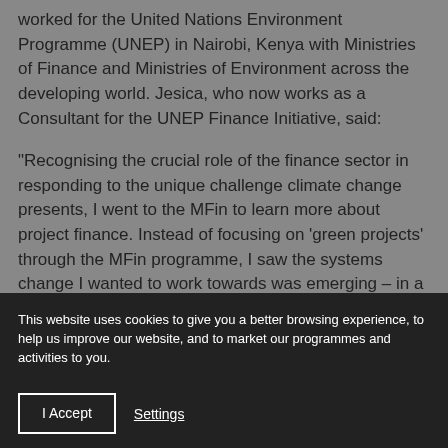worked for the United Nations Environment Programme (UNEP) in Nairobi, Kenya with Ministries of Finance and Ministries of Environment across the developing world. Jesica, who now works as a Consultant for the UNEP Finance Initiative, said:

“Recognising the crucial role of the finance sector in responding to the unique challenge climate change presents, I went to the MFin to learn more about project finance. Instead of focusing on ‘green projects’ through the MFin programme, I saw the systems change I wanted to work towards was emerging – in a few small pockets – more rapidly than I could have hoped.
This website uses cookies to give you a better browsing experience, to help us improve our website, and to market our programmes and activities to you.